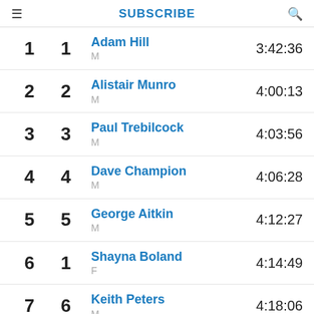SUBSCRIBE
| Overall | Gender Rank | Name | Time |
| --- | --- | --- | --- |
| 1 | 1 | Adam Hill
M | 3:42:36 |
| 2 | 2 | Alistair Munro
M | 4:00:13 |
| 3 | 3 | Paul Trebilcock
M | 4:03:56 |
| 4 | 4 | Dave Champion
M | 4:06:28 |
| 5 | 5 | George Aitkin
M | 4:12:27 |
| 6 | 1 | Shayna Boland
F | 4:14:49 |
| 7 | 6 | Keith Peters
M | 4:18:06 |